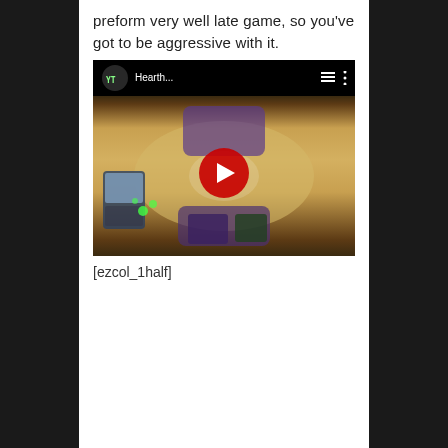preform very well late game, so you've got to be aggressive with it.
[Figure (screenshot): Embedded YouTube video thumbnail showing a Hearthstone game in progress with a red play button overlay. The video title shows 'Hearth...' in the top bar with YouTube logo, menu icons, and a three-dot menu.]
[ezcol_1half]